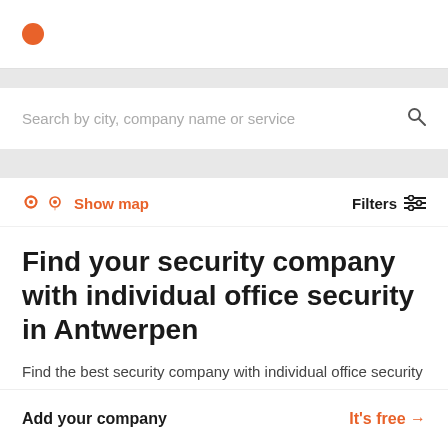Logo dot (orange circle)
Search by city, company name or service
Show map
Filters
Find your security company with individual office security in Antwerpen
Find the best security company with individual office security in Antwerpen based on your criteria.
Add your company   It's free →